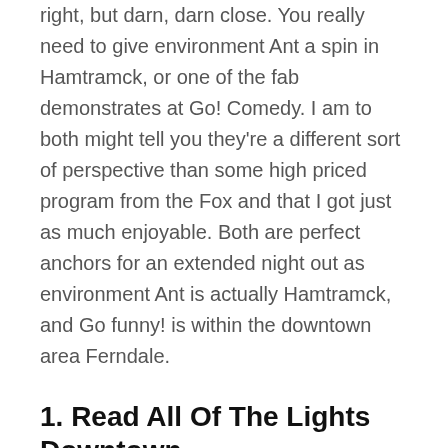right, but darn, darn close. You really need to give environment Ant a spin in Hamtramck, or one of the fab demonstrates at Go! Comedy. I am to both might tell you they're a different sort of perspective than some high priced program from the Fox and that I got just as much enjoyable. Both are perfect anchors for an extended night out as environment Ant is actually Hamtramck, and Go funny! is within the downtown area Ferndale.
1. Read All Of The Lights Downtown
okay, so discover finished ... Downtown Detroit had previously been holiday main way back during the daytime. Now, it kinda are again. There's an attractive wintertime In Detroit marketplace in 1001 Woodward, Cadillac Square, nature Plaza AND